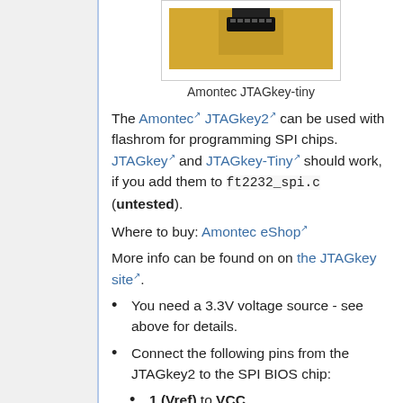[Figure (photo): Photo of Amontec JTAGkey-tiny device on yellow background]
Amontec JTAGkey-tiny
The Amontec JTAGkey2 can be used with flashrom for programming SPI chips. JTAGkey and JTAGkey-Tiny should work, if you add them to ft2232_spi.c (untested).
Where to buy: Amontec eShop
More info can be found on on the JTAGkey site.
You need a 3.3V voltage source - see above for details.
Connect the following pins from the JTAGkey2 to the SPI BIOS chip:
1 (Vref) to VCC
5 (MOSI/TDI) to SI